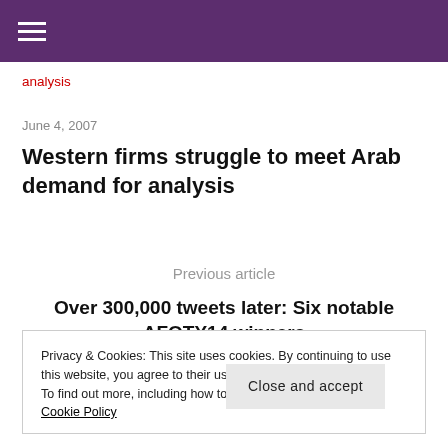☰
analysis
June 4, 2007
Western firms struggle to meet Arab demand for analysis
Previous article
Over 300,000 tweets later: Six notable AFOTY14 winners
Privacy & Cookies: This site uses cookies. By continuing to use this website, you agree to their use.
To find out more, including how to control cookies, see here: Cookie Policy
Close and accept